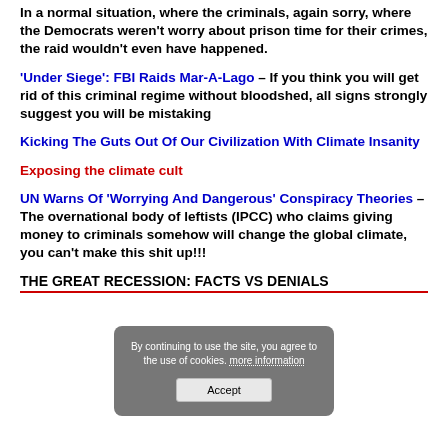In a normal situation, where the criminals, again sorry, where the Democrats weren't worry about prison time for their crimes, the raid wouldn't even have happened.
'Under Siege': FBI Raids Mar-A-Lago – If you think you will get rid of this criminal regime without bloodshed, all signs strongly suggest you will be mistaking
Kicking The Guts Out Of Our Civilization With Climate Insanity
Exposing the climate cult
UN Warns Of 'Worrying And Dangerous' Conspiracy Theories – The overnational body of leftists (IPCC) who claims giving money to criminals somehow will change the global climate, you can't make this shit up!!!
THE GREAT RECESSION: FACTS VS DENIALS
By continuing to use the site, you agree to the use of cookies. more information
Accept